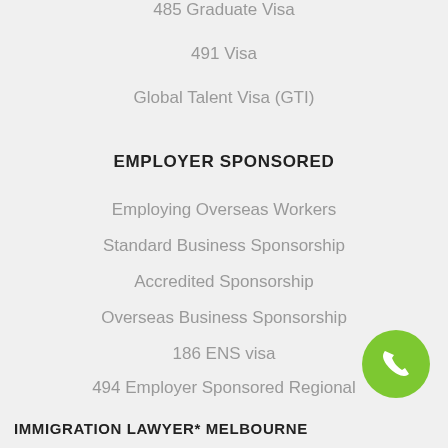485 Graduate Visa
491 Visa
Global Talent Visa (GTI)
EMPLOYER SPONSORED
Employing Overseas Workers
Standard Business Sponsorship
Accredited Sponsorship
Overseas Business Sponsorship
186 ENS visa
494 Employer Sponsored Regional
482 TSS visa
IMMIGRATION LAWYER* MELBOURNE